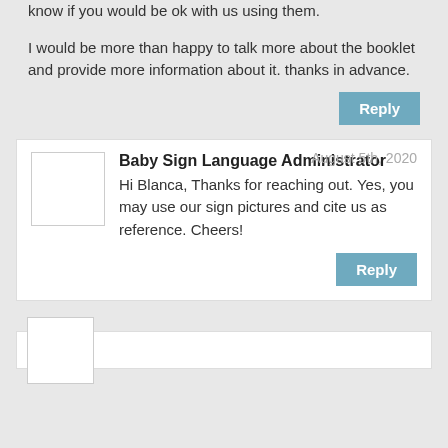know if you would be ok with us using them.
I would be more than happy to talk more about the booklet and provide more information about it. thanks in advance.
Reply
Baby Sign Language Administrator
August 5th, 2020
Hi Blanca, Thanks for reaching out. Yes, you may use our sign pictures and cite us as reference. Cheers!
Reply